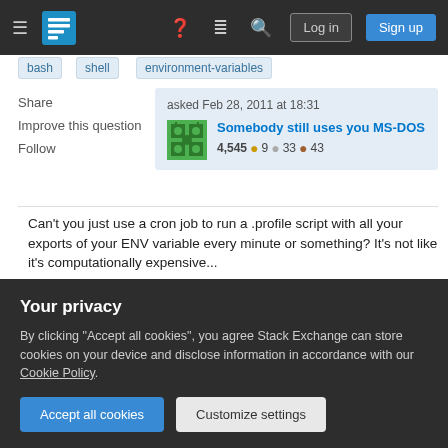Stack Exchange navigation bar with hamburger menu, logo, help, chat, search, Log in, Sign up
bash
shell
environment-variables
Share
Improve this question
Follow
asked Feb 28, 2011 at 18:31
Somebody still uses you MS-DOS
4,545 ● 9 ● 33 ● 43
Can't you just use a cron job to run a .profile script with all your exports of your ENV variable every minute or something? It's not like it's computationally expensive...
Benjamin Apr 19, 2021 at 10:24
Your privacy
By clicking "Accept all cookies", you agree Stack Exchange can store cookies on your device and disclose information in accordance with our Cookie Policy.
Accept all cookies
Customize settings
would reset it to 0 again due to running the